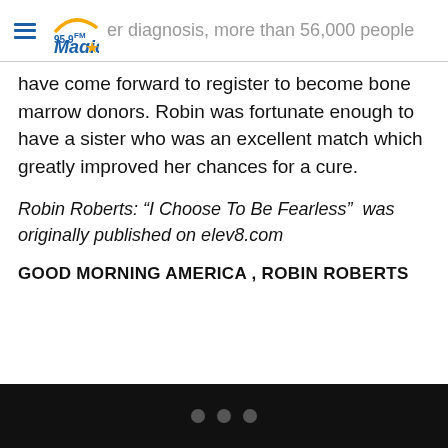95.9FM Magic (logo)
er diagnosis, more than 56,000 people have come forward to register to become bone marrow donors. Robin was fortunate enough to have a sister who was an excellent match which greatly improved her chances for a cure.
Robin Roberts: “I Choose To Be Fearless”  was originally published on elev8.com
GOOD MORNING AMERICA , ROBIN ROBERTS